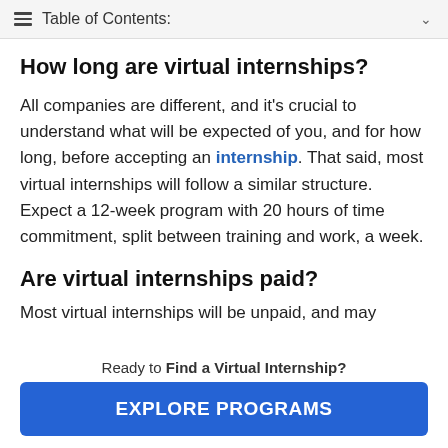Table of Contents:
How long are virtual internships?
All companies are different, and it's crucial to understand what will be expected of you, and for how long, before accepting an internship. That said, most virtual internships will follow a similar structure. Expect a 12-week program with 20 hours of time commitment, split between training and work, a week.
Are virtual internships paid?
Most virtual internships will be unpaid, and may
Ready to Find a Virtual Internship?
EXPLORE PROGRAMS